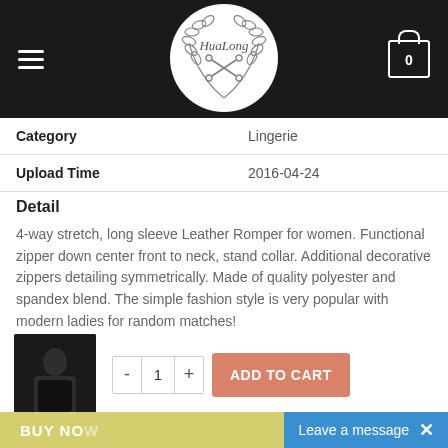HuaLong — Navigation header with logo and cart
| Field | Value |
| --- | --- |
| Category | Lingerie |
| Upload Time | 2016-04-24 |
Detail
4-way stretch, long sleeve Leather Romper for women. Functional zipper down center front to neck, stand collar. Additional decorative zippers detailing symmetrically. Made of quality polyester and spandex blend. The simple fashion style is very popular with modern ladies for random matches!
Features
First class, fine leatherette material, crafted
Faux leather material, from ladies
The high quality ensure you comfort in this leatherette